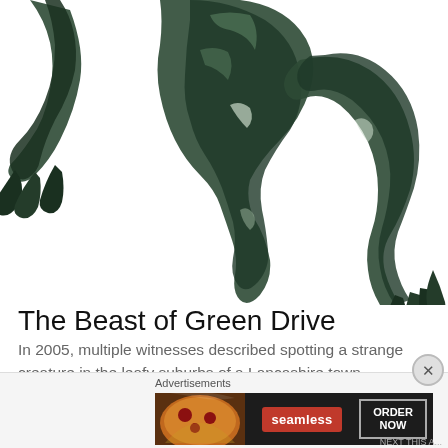[Figure (illustration): Dark fantasy illustration showing the lower body and legs of a fearsome green-black creature with claws, rendered in a detailed artistic style against a white background.]
The Beast of Green Drive
In 2005, multiple witnesses described spotting a strange creature in the leafy suburbs of a Lancashire town
[Figure (advertisement): Seamless food delivery advertisement banner with pizza image, Seamless logo in red, and ORDER NOW button.]